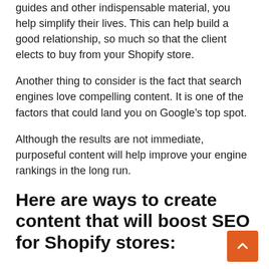guides and other indispensable material, you help simplify their lives. This can help build a good relationship, so much so that the client elects to buy from your Shopify store.
Another thing to consider is the fact that search engines love compelling content. It is one of the factors that could land you on Google’s top spot.
Although the results are not immediate, purposeful content will help improve your engine rankings in the long run.
Here are ways to create content that will boost SEO for Shopify stores: